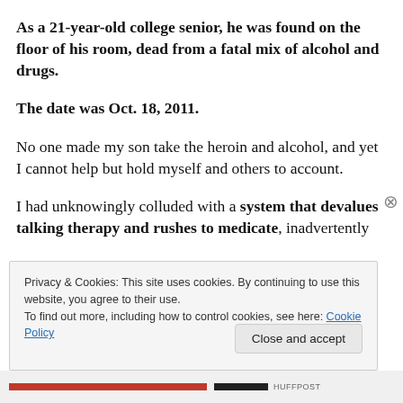As a 21-year-old college senior, he was found on the floor of his room, dead from a fatal mix of alcohol and drugs.
The date was Oct. 18, 2011.
No one made my son take the heroin and alcohol, and yet I cannot help but hold myself and others to account.
I had unknowingly colluded with a system that devalues talking therapy and rushes to medicate, inadvertently
Privacy & Cookies: This site uses cookies. By continuing to use this website, you agree to their use.
To find out more, including how to control cookies, see here: Cookie Policy
Close and accept